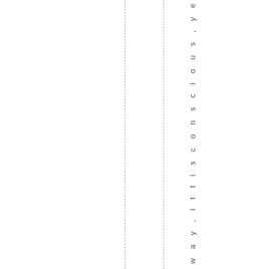k t h a t w a y , i t t i s c o n s c i o u s , y e